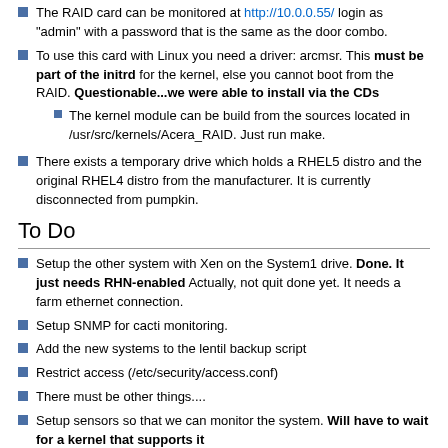The RAID card can be monitored at http://10.0.0.55/ login as "admin" with a password that is the same as the door combo.
To use this card with Linux you need a driver: arcmsr. This must be part of the initrd for the kernel, else you cannot boot from the RAID. Questionable...we were able to install via the CDs
The kernel module can be build from the sources located in /usr/src/kernels/Acera_RAID. Just run make.
There exists a temporary drive which holds a RHEL5 distro and the original RHEL4 distro from the manufacturer. It is currently disconnected from pumpkin.
To Do
Setup the other system with Xen on the System1 drive. Done. It just needs RHN-enabled Actually, not quit done yet. It needs a farm ethernet connection.
Setup SNMP for cacti monitoring.
Add the new systems to the lentil backup script
Restrict access (/etc/security/access.conf)
There must be other things....
Setup sensors so that we can monitor the system. Will have to wait for a kernel that supports it
Done